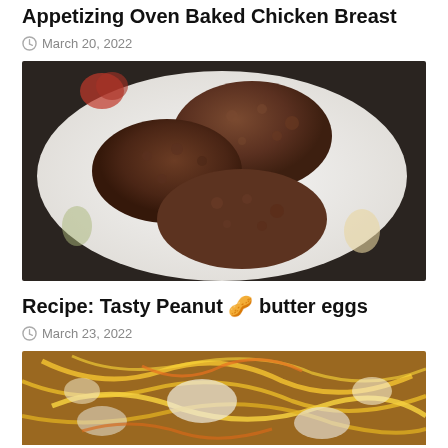Appetizing Oven Baked Chicken Breast
March 20, 2022
[Figure (photo): Oven baked chicken breasts on a decorative plate with floral/fruit pattern]
Recipe: Tasty Peanut 🥜 butter eggs
March 23, 2022
[Figure (photo): Peanut butter eggs dish with yellow and orange colors, close-up view]